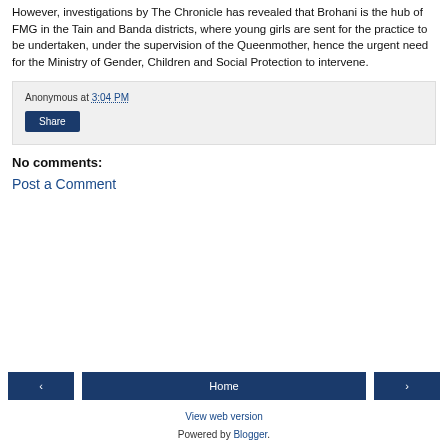However, investigations by The Chronicle has revealed that Brohani is the hub of FMG in the Tain and Banda districts, where young girls are sent for the practice to be undertaken, under the supervision of the Queenmother, hence the urgent need for the Ministry of Gender, Children and Social Protection to intervene.
Anonymous at 3:04 PM
Share
No comments:
Post a Comment
‹
Home
›
View web version
Powered by Blogger.